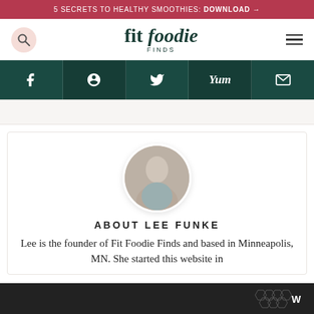5 SECRETS TO HEALTHY SMOOTHIES: DOWNLOAD →
fit foodie FINDS
[Figure (infographic): Social media icon bar with Facebook, Pinterest, Twitter, Yummly, and Email icons on dark teal background]
[Figure (photo): Circular portrait photo of Lee Funke, a blonde woman smiling]
ABOUT LEE FUNKE
Lee is the founder of Fit Foodie Finds and based in Minneapolis, MN. She started this website in